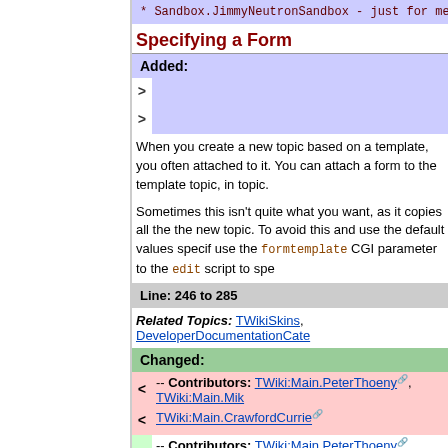* Sandbox.JimmyNeutronSandbox - just for me
Specifying a Form
Added:
When you create a new topic based on a template, you often attached to it. You can attach a form to the template topic, in topic.
Sometimes this isn't quite what you want, as it copies all the the new topic. To avoid this and use the default values specif use the formtemplate CGI parameter to the edit script to spe
Line: 246 to 285
Related Topics: TWikiSkins, DeveloperDocumentationCate
Changed:
< -- Contributors: TWiki:Main.PeterThoeny, TWiki:Main.Mik TWiki:Main.CrawfordCurrie
> -- Contributors: TWiki:Main.PeterThoeny, TWiki:Main.Mik